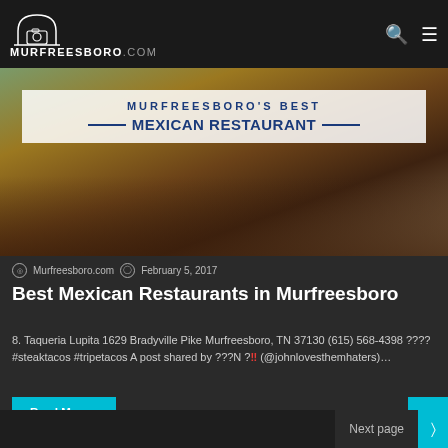MURFREESBORO.COM
[Figure (photo): Hero image showing Murfreesboro's Best Mexican Restaurant banner overlay on a food background photo]
Murfreesboro.com  February 5, 2017
Best Mexican Restaurants in Murfreesboro
8. Taqueria Lupita 1629 Bradyville Pike Murfreesboro, TN 37130 (615) 568-4398 ???? #steaktacos #tripetacos A post shared by ???N ?‼ (@johnlovesthemhaters)…
Read More »
Next page >